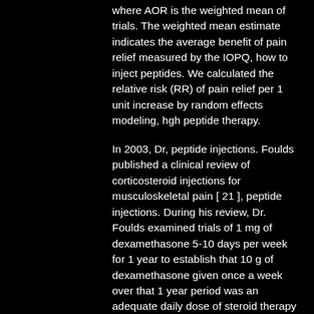where AOR is the weighted mean of trials. The weighted mean estimate indicates the average benefit of pain relief measured by the IOPQ, how to inject peptides. We calculated the relative risk (RR) of pain relief per 1 unit increase by random effects modeling, hgh peptide therapy.
In 2003, Dr, peptide injections. Foulds published a clinical review of corticosteroid injections for musculoskeletal pain [ 21 ], peptide injections. During his review, Dr. Foulds examined trials of 1 mg of dexamethasone 5-10 days per week for 1 year to establish that 10 g of dexamethasone given once a week over that 1 year period was an adequate daily dose of steroid therapy that could be considered as an alternative to NSAID use [ 23 ]. In that review, Dr. Foulds noted that no trials were adequately designed to evaluate the effects of their corticosterone therapy for pain relief